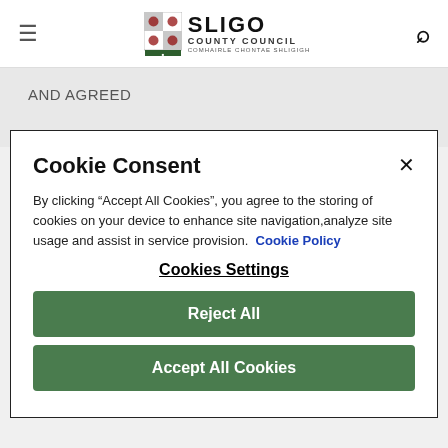Sligo County Council
AND AGREED
“On the draft zoning map, modify the
Cookie Consent
By clicking “Accept All Cookies”, you agree to the storing of cookies on your device to enhance site navigation,analyze site usage and assist in service provision. Cookie Policy
Cookies Settings
Reject All
Accept All Cookies